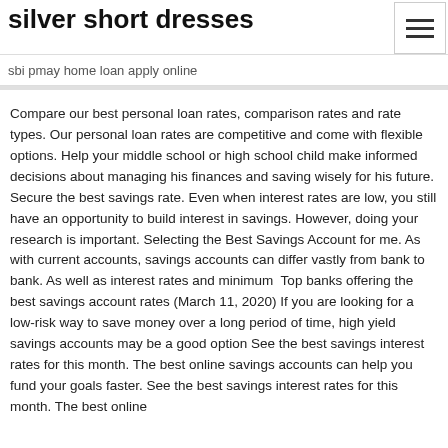silver short dresses
sbi pmay home loan apply online
Compare our best personal loan rates, comparison rates and rate types. Our personal loan rates are competitive and come with flexible options. Help your middle school or high school child make informed decisions about managing his finances and saving wisely for his future. Secure the best savings rate. Even when interest rates are low, you still have an opportunity to build interest in savings. However, doing your research is important. Selecting the Best Savings Account for me. As with current accounts, savings accounts can differ vastly from bank to bank. As well as interest rates and minimum  Top banks offering the best savings account rates (March 11, 2020) If you are looking for a low-risk way to save money over a long period of time, high yield savings accounts may be a good option See the best savings interest rates for this month. The best online savings accounts can help you fund your goals faster. See the best savings interest rates for this month. The best online